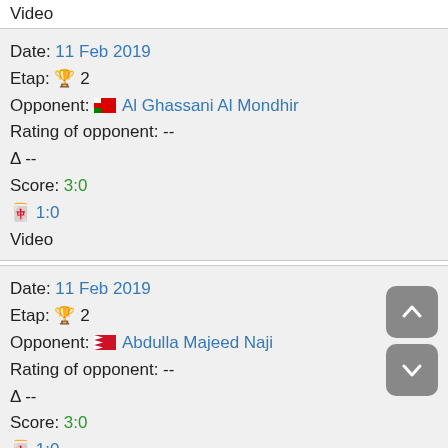Video
Date: 11 Feb 2019
Etap: 🏆 2
Opponent: 🇴🇲 Al Ghassani Al Mondhir
Rating of opponent: --
Δ --
Score: 3:0
🀄 1:0
Video
Date: 11 Feb 2019
Etap: 🏆 2
Opponent: 🇧🇭 Abdulla Majeed Naji
Rating of opponent: --
Δ --
Score: 3:0
🀄 1:0
Video